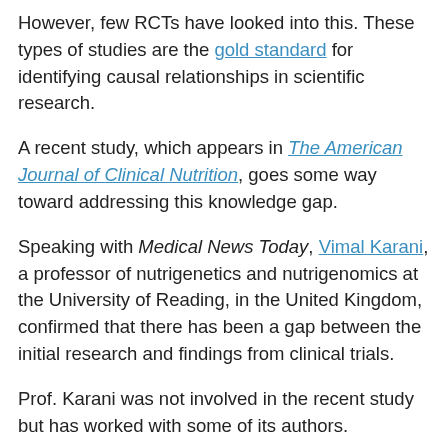However, few RCTs have looked into this. These types of studies are the gold standard for identifying causal relationships in scientific research.
A recent study, which appears in The American Journal of Clinical Nutrition, goes some way toward addressing this knowledge gap.
Speaking with Medical News Today, Vimal Karani, a professor of nutrigenetics and nutrigenomics at the University of Reading, in the United Kingdom, confirmed that there has been a gap between the initial research and findings from clinical trials.
Prof. Karani was not involved in the recent study but has worked with some of its authors.
He explained that past large epidemiological studies “have established a link between vitamin D deficiency and the risk of [cardiovascular disease] traits in various ethnic groups.” This,